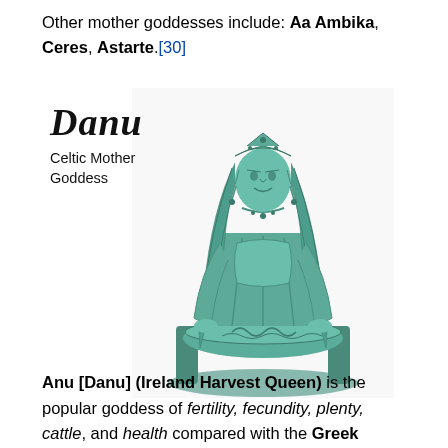Other mother goddesses include: Aa Ambika, Ceres, Astarte.[30]
[Figure (illustration): Illustration of Danu, the Celtic Mother Goddess — a green-tinted statue of a seated robed figure with long hair and a headdress, holding a wide circular dish on her lap. Text overlay reads 'Danu' in bold italic serif font and 'Celtic Mother Goddess' in smaller sans-serif.]
Anu [Danu] (Ireland Harvest Queen) is the popular goddess of fertility, fecundity, plenty, cattle, and health compared with the Greek Demeter and the Roman